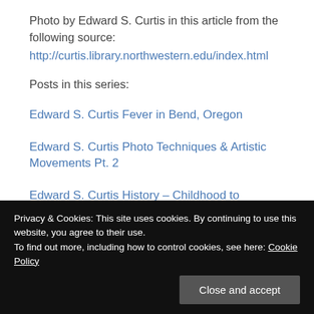Photo by Edward S. Curtis in this article from the following source:
http://curtis.library.northwestern.edu/index.html
Posts in this series:
Edward S. Curtis Fever in Bend, Oregon
Edward S. Curtis Photo Techniques & Artistic Movements Pt. 2
Edward S. Curtis History – Childhood to Businessman
Privacy & Cookies: This site uses cookies. By continuing to use this website, you agree to their use.
To find out more, including how to control cookies, see here: Cookie Policy
Close and accept
Edward S. Curtis' life of twists & turns Pt. 5